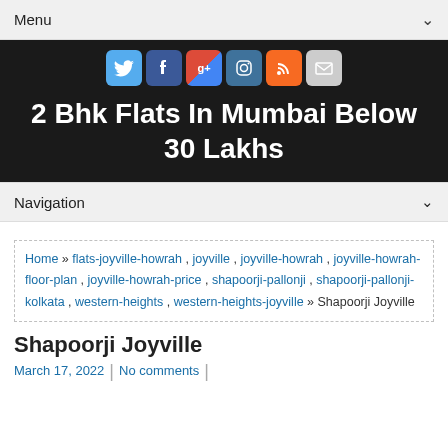Menu
[Figure (illustration): Social media icons: Twitter, Facebook, Google+, Instagram, RSS, Mail]
2 Bhk Flats In Mumbai Below 30 Lakhs
Navigation
Home » flats-joyville-howrah , joyville , joyville-howrah , joyville-howrah-floor-plan , joyville-howrah-price , shapoorji-pallonji , shapoorji-pallonji-kolkata , western-heights , western-heights-joyville » Shapoorji Joyville
Shapoorji Joyville
March 17, 2022  |  No comments  |